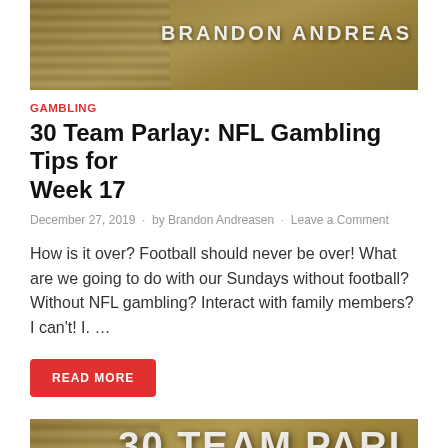[Figure (photo): Top banner image showing stacked gold/silver coins with text overlay 'BRANDON ANDREAS' on dark background]
GAMBLING
30 Team Parlay: NFL Gambling Tips for Week 17
December 27, 2019 · by Brandon Andreasen · Leave a Comment
How is it over? Football should never be over! What are we going to do with our Sundays without football? Without NFL gambling? Interact with family members? I can't! I. ...
READ MORE
[Figure (photo): Bottom banner image showing stacked coins with large text overlay '30 TEAM PARL' partially visible]